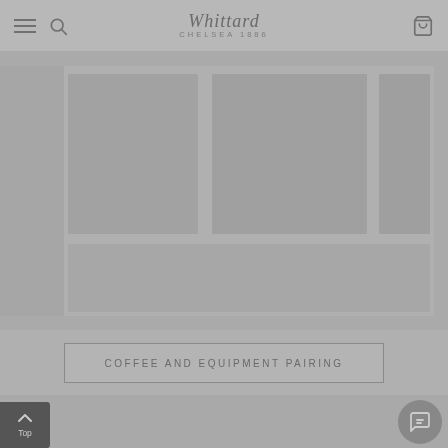Whittard Chelsea 1886 — navigation header with menu, search, and cart icons
[Figure (photo): Large grey placeholder image area showing a loading/unloaded product photo on the Whittard of Chelsea website]
COFFEE AND EQUIPMENT PAIRING
Top
[Figure (other): Chat/messaging button icon in bottom right corner]